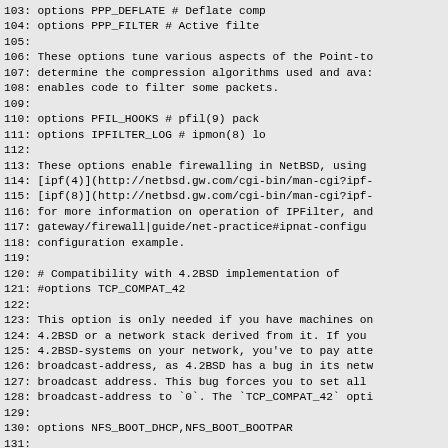103:     options           PPP_DEFLATE      # Deflate comp
104:     options           PPP_FILTER       # Active filte
105:
106: These options tune various aspects of the Point-to
107: determine the compression algorithms used and ava:
108: enables code to filter some packets.
109:
110:     options           PFIL_HOOKS       # pfil(9) pack
111:     options           IPFILTER_LOG     # ipmon(8) lo
112:
113: These options enable firewalling in NetBSD, using
114: [ipf(4)](http://netbsd.gw.com/cgi-bin/man-cgi?ipf-
115: [ipf(8)](http://netbsd.gw.com/cgi-bin/man-cgi?ipf-
116: for more information on operation of IPFilter, and
117:  gateway/firewall|guide/net-practice#ipnat-configu
118:  configuration example.
119:
120:     # Compatibility with 4.2BSD implementation of
121:     #options          TCP_COMPAT_42
122:
123: This option is only needed if you have machines on
124: 4.2BSD or a network stack derived from it. If you
125: 4.2BSD-systems on your network, you've to pay atte
126: broadcast-address, as 4.2BSD has a bug in its netw
127: broadcast address. This bug forces you to set all
128: broadcast-address to `0`. The `TCP_COMPAT_42` opti
129:
130:     options           NFS_BOOT_DHCP,NFS_BOOT_BOOTPAR
131:
132: These options enable lookup of data via DHCP or th
133: kernel is told to use a NFS root file system. See